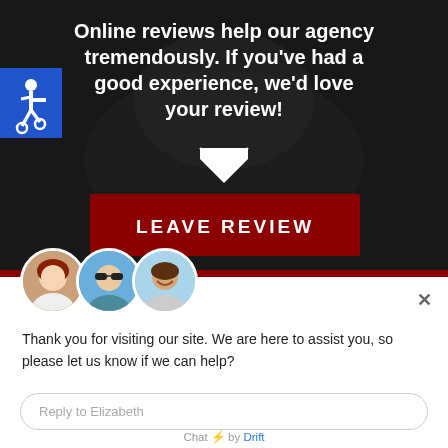[Figure (screenshot): Dark background hero image with text overlay about online reviews, a white chevron down arrow, and a dark red 'LEAVE REVIEW' button. A blue accessibility icon is in the upper-left.]
[Figure (photo): Chat popup widget showing three circular profile photo avatars (woman, man with sunglasses, man smiling), a close X button, a welcome message, a reply text input box, and a 'Chat by Drift' footer.]
Thank you for visiting our site. We are here to assist you, so please let us know if we can help?
Reply to Elizabeth
Chat ⚡ by Drift